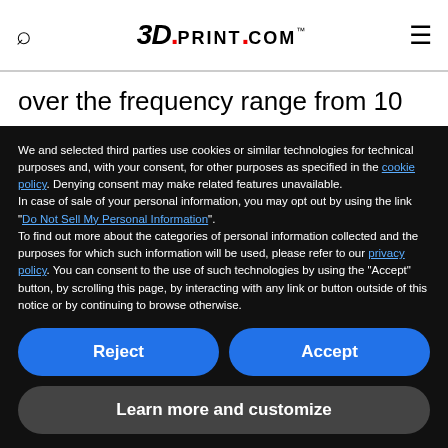3DPRINT.COM
over the frequency range from 10 MHz to 6 GHz. There was also no noticeable difference between the gain of the 3D printed circuit and the conventionally manufactured amplifier.
We and selected third parties use cookies or similar technologies for technical purposes and, with your consent, for other purposes as specified in the cookie policy. Denying consent may make related features unavailable.
In case of sale of your personal information, you may opt out by using the link "Do Not Sell My Personal Information".
To find out more about the categories of personal information collected and the purposes for which such information will be used, please refer to our privacy policy. You can consent to the use of such technologies by using the "Accept" button, by scrolling this page, by interacting with any link or button outside of this notice or by continuing to browse otherwise.
Reject
Accept
Learn more and customize